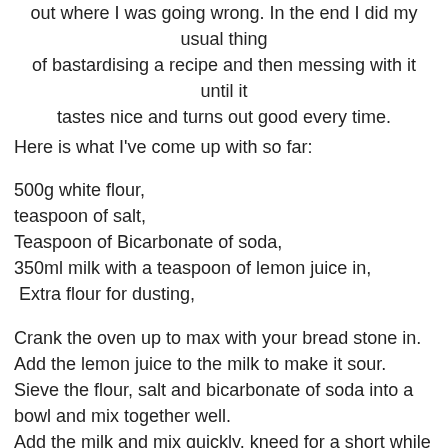out where I was going wrong. In the end I did my usual thing of bastardising a recipe and then messing with it until it tastes nice and turns out good every time.
Here is what I've come up with so far:
500g white flour,
teaspoon of salt,
Teaspoon of Bicarbonate of soda,
350ml milk with a teaspoon of lemon juice in,
Extra flour for dusting,
Crank the oven up to max with your bread stone in.
Add the lemon juice to the milk to make it sour.
Sieve the flour, salt and bicarbonate of soda into a bowl and mix together well.
Add the milk and mix quickly, kneed for a short while (minute) to pull it all together.
Split it in two, dust it with flour and then slap it on the bread stone.
Turn the oven down to 200 degrees and wait for 30 minute for it to cook.
It should sound hollow when you pick it up and tap it's bottom.